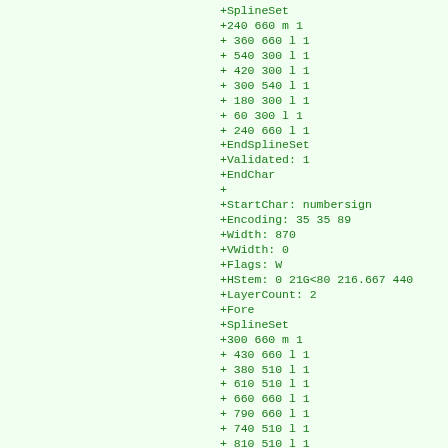+SplineSet
+240 660 m 1
+ 360 660 l 1
+ 540 300 l 1
+ 420 300 l 1
+ 300 540 l 1
+ 180 300 l 1
+ 60 300 l 1
+ 240 660 l 1
+EndSplineSet
+Validated: 1
+EndChar
+
+StartChar: numbersign
+Encoding: 35 35 89
+Width: 870
+VWidth: 0
+Flags: W
+HStem: 0 21G<80 216.667 440
+LayerCount: 2
+Fore
+SplineSet
+300 660 m 1
+ 430 660 l 1
+ 380 510 l 1
+ 610 510 l 1
+ 660 660 l 1
+ 790 660 l 1
+ 740 510 l 1
+ 810 510 l 1
+ 810 420 l 1
+ 710 420 l 1